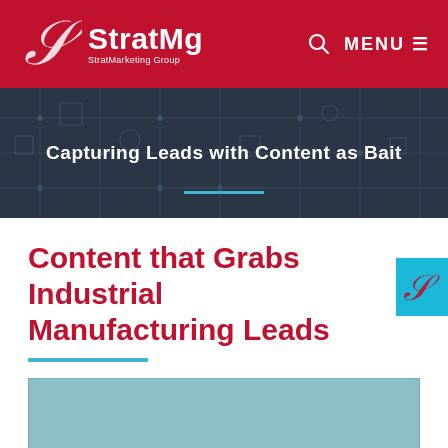StratMg StratMarketing Group | MENU
Capturing Leads with Content as Bait
Content that Grabs Industrial Manufacturing Leads
[Figure (other): Teal/blue chart placeholder box - partial view of a bar chart about content types]
Content Types for Which Engineers Will Complete A Form